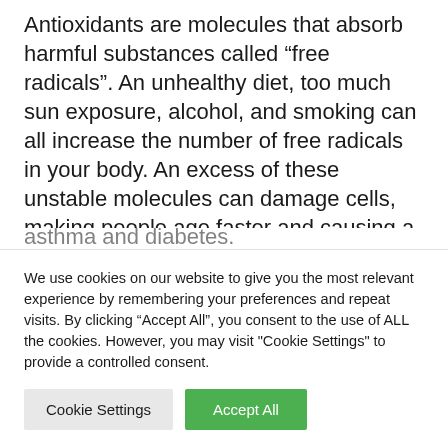Antioxidants are molecules that absorb harmful substances called “free radicals”. An unhealthy diet, too much sun exposure, alcohol, and smoking can all increase the number of free radicals in your body. An excess of these unstable molecules can damage cells, making people age faster and causing a host of health problems, including cardiovascular disease, cancer, arthritis, asthma and diabetes.
We use cookies on our website to give you the most relevant experience by remembering your preferences and repeat visits. By clicking “Accept All”, you consent to the use of ALL the cookies. However, you may visit "Cookie Settings" to provide a controlled consent.